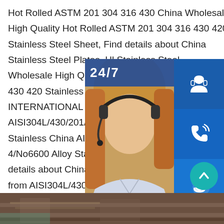Hot Rolled ASTM 201 304 316 430 China Wholesale High Quality Hot Rolled ASTM 201 304 316 430 420 Stainless Steel Sheet, Find details about China Stainless Steel Plates, Hl Stainless Steel Wholesale High Quality Hot Rolled ASTM 430 420 Stainless Steel Sheet - TIANJIN INTERNATIONAL TRADING CO., LTD.sp AISI304L/430/201/904L No. 1/No. 4/No Stainless China AISI304L/430/201/904L 4/No6600 Alloy Stainless Steel Sheet P details about China Alloy Stainless, Stainless Steel Sheet from AISI304L/430/201/904L No. 1/No. 4/No660 Stainless Steel Sheet Price Per Kg -
[Figure (screenshot): Customer service widget overlay showing a woman with headset, 24/7 label, three blue icon buttons (headset/support, phone, Skype), a PROVIDE Empowering Customers banner, and an online live button. Also a teal up-arrow scroll button.]
[Figure (photo): Bottom strip showing industrial steel sheet/plate materials in a warehouse or storage area.]